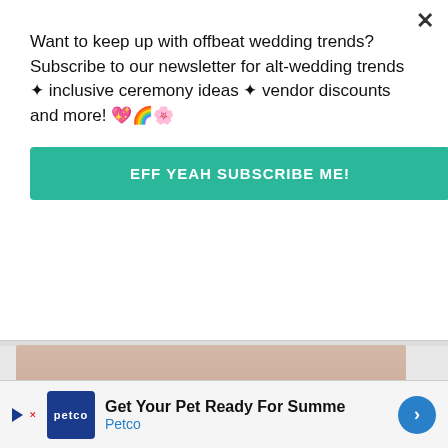Want to keep up with offbeat wedding trends?Subscribe to our newsletter for alt-wedding trends • inclusive ceremony ideas • vendor discounts and more! 💖🌈🌸
EFF YEAH SUBSCRIBE ME!
[Figure (photo): Advertisement banner for wedding hashtags service showing a couple and text: Never-Seen-Before Wedding Hashtags, Written By Professional Writers, Order Today!]
[Figure (screenshot): Screenshot of a design application (Canva-like) showing a wedding invitation template with text 'Stay consistent' and a pink sidebar element]
Get Your Pet Ready For Summe
Petco